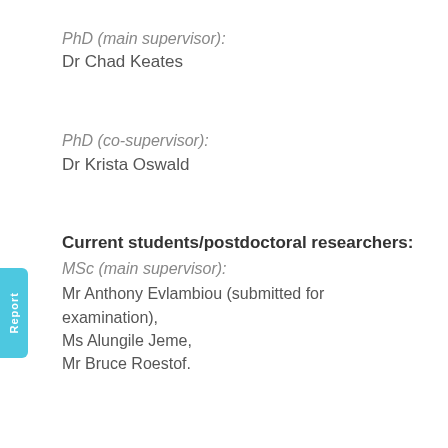PhD (main supervisor):
Dr Chad Keates
PhD (co-supervisor):
Dr Krista Oswald
Current students/postdoctoral researchers:
MSc (main supervisor):
Mr Anthony Evlambiou (submitted for examination),
Ms Alungile Jeme,
Mr Bruce Roestof.
MSc (co-supervisor):